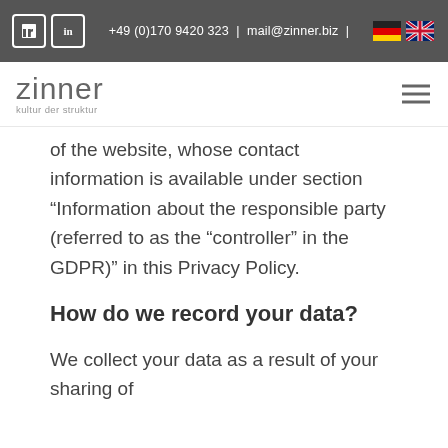+49 (0)170 9420 323 | mail@zinner.biz |
[Figure (logo): Zinner logo with tagline 'kultur der struktur']
of the website, whose contact information is available under section “Information about the responsible party (referred to as the “controller” in the GDPR)” in this Privacy Policy.
How do we record your data?
We collect your data as a result of your sharing of